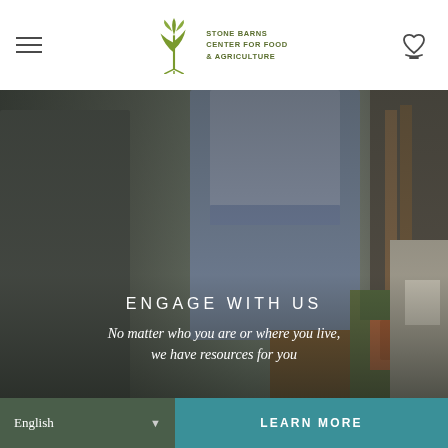[Figure (logo): Stone Barns Center for Food & Agriculture logo with plant/tree icon and text]
[Figure (photo): Outdoor scene with people at what appears to be a farmers market or food event; a woman in a blue dress and a man in a gray suit are visible, with vegetables and produce in the foreground]
ENGAGE WITH US
No matter who you are or where you live, we have resources for you
English
LEARN MORE